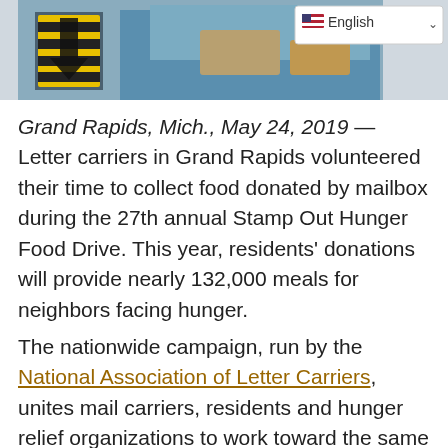[Figure (photo): Top portion of a webpage showing a partial photo of a food drive scene with a yellow and black hazard-striped arrow sign and blue containers, along with an English language selector dropdown in the top right corner.]
Grand Rapids, Mich., May 24, 2019 — Letter carriers in Grand Rapids volunteered their time to collect food donated by mailbox during the 27th annual Stamp Out Hunger Food Drive. This year, residents' donations will provide nearly 132,000 meals for neighbors facing hunger.
The nationwide campaign, run by the National Association of Letter Carriers, unites mail carriers, residents and hunger relief organizations to work toward the same goal: to end hunger.